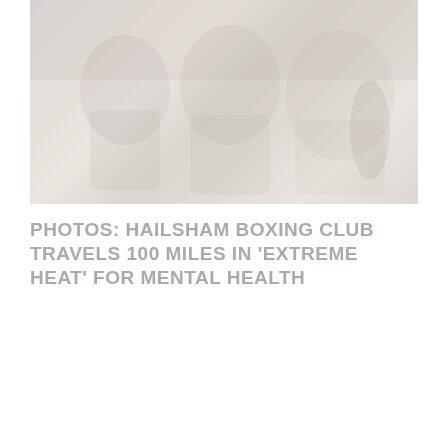[Figure (photo): Faded/washed-out photograph of people at what appears to be a boxing club setting, very light and desaturated]
PHOTOS: HAILSHAM BOXING CLUB TRAVELS 100 MILES IN 'EXTREME HEAT' FOR MENTAL HEALTH